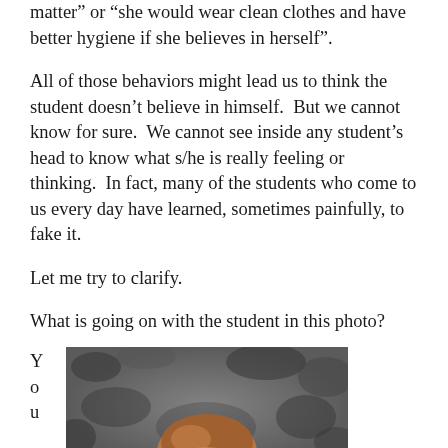matter” or “she would wear clean clothes and have better hygiene if she believes in herself”.
All of those behaviors might lead us to think the student doesn’t believe in himself.  But we cannot know for sure.  We cannot see inside any student’s head to know what s/he is really feeling or thinking.  In fact, many of the students who come to us every day have learned, sometimes painfully, to fake it.
Let me try to clarify.
What is going on with the student in this photo?
Y
o
u
[Figure (photo): Black and white photo of a child, visible from the top of the head, with the child appearing to look down or away. The background is blurred and dark.]